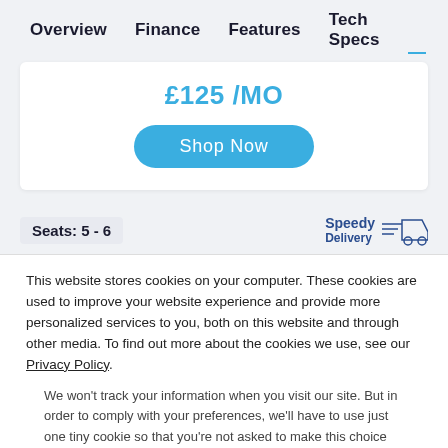Overview   Finance   Features   Tech Specs
£125 /MO
Shop Now
Seats: 5 - 6
Speedy Delivery
This website stores cookies on your computer. These cookies are used to improve your website experience and provide more personalized services to you, both on this website and through other media. To find out more about the cookies we use, see our Privacy Policy.
We won't track your information when you visit our site. But in order to comply with your preferences, we'll have to use just one tiny cookie so that you're not asked to make this choice again.
Accept
Decline